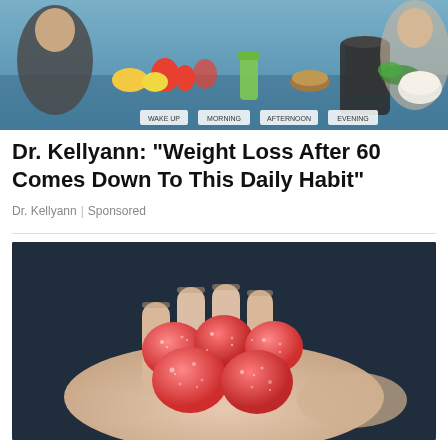[Figure (photo): TV show set with people around a table displaying food, drinks, and wellness products with labels: WAKE UP, MORNING, AFTERNOON, EVENING]
Dr. Kellyann: "Weight Loss After 60 Comes Down To This Daily Habit"
Dr. Kellyann | Sponsored
[Figure (photo): A hand holding several red/pink sugar-coated gummy candies against a dark background]
Banned For 84 Years; Powerful Pain Reliever